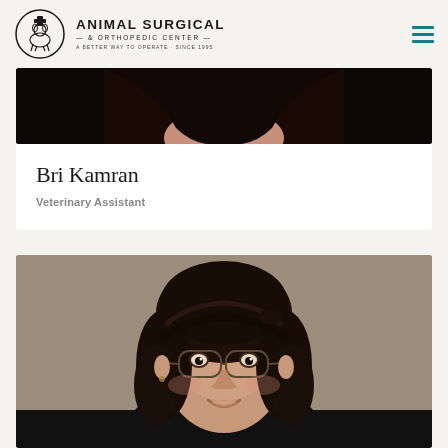[Figure (logo): Animal Surgical & Orthopedic Center logo with circular emblem showing animal silhouettes and text 'ANIMAL SURGICAL & ORTHOPEDIC CENTER - A BETTER WAY TO OPERATE - SINCE 1995']
[Figure (photo): Partial photo showing top of a person's head with dark hair, cropped at the top of the page]
Bri Kamran
Veterinary Assistant
[Figure (photo): Portrait photo of Bri Kamran, a young woman with dark wavy hair, round glasses, smiling, wearing dark clothing, against a gray-brown background]